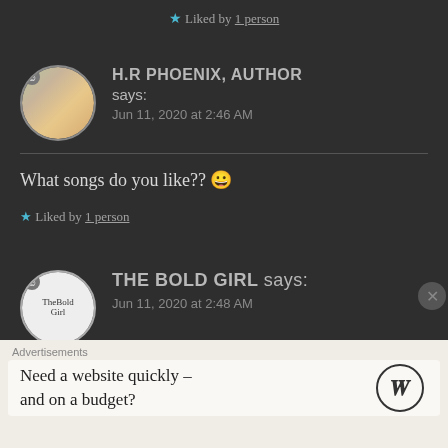★ Liked by 1 person
H.R PHOENIX, AUTHOR says:
Jun 11, 2020 at 2:46 AM
What songs do you like?? 🙂
★ Liked by 1 person
THE BOLD GIRL says:
Jun 11, 2020 at 2:48 AM
Advertisements
Need a website quickly –
and on a budget?